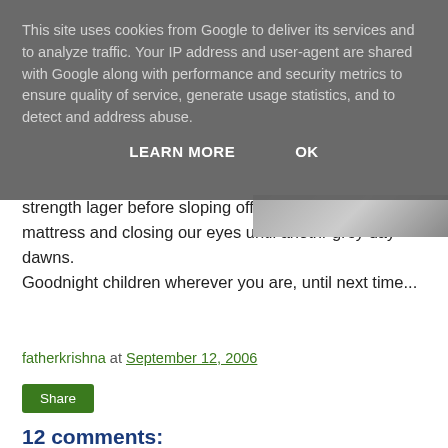This site uses cookies from Google to deliver its services and to analyze traffic. Your IP address and user-agent are shared with Google along with performance and security metrics to ensure quality of service, generate usage statistics, and to detect and address abuse.
LEARN MORE   OK
strength lager before sloping off to a sweat stained mattress and closing our eyes until anothr grey day dawns. Goodnight children wherever you are, until next time...
fatherkrishna at September 12, 2006
Share
12 comments:
Animated AF  Wednesday, September 13, 2006
Your best post so far, me thinks XD